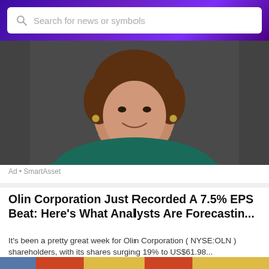Search for news or symbols
[Figure (photo): Professional headshot of a woman with dark hair, wearing a teal/dark green top, smiling against a dark grey background. Advertisement photo for SmartAsset.]
Ad • SmartAsset
Olin Corporation Just Recorded A 7.5% EPS Beat: Here's What Analysts Are Forecastin...
It's been a pretty great week for Olin Corporation ( NYSE:OLN ) shareholders, with its shares surging 19% to US$61.98...
[Figure (photo): Person in blue jacket holding a white container with a blue stripe in a store aisle with shelves of products in the background.]